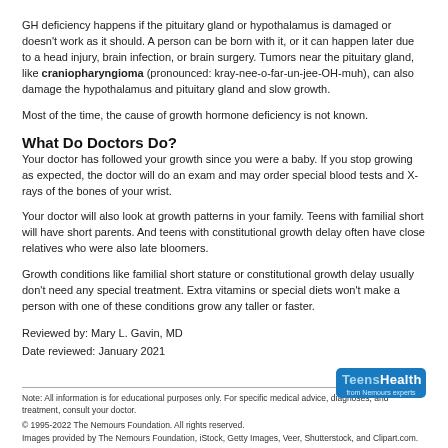GH deficiency happens if the pituitary gland or hypothalamus is damaged or doesn't work as it should. A person can be born with it, or it can happen later due to a head injury, brain infection, or brain surgery. Tumors near the pituitary gland, like craniopharyngioma (pronounced: kray-nee-o-far-un-jee-OH-muh), can also damage the hypothalamus and pituitary gland and slow growth.
Most of the time, the cause of growth hormone deficiency is not known.
What Do Doctors Do?
Your doctor has followed your growth since you were a baby. If you stop growing as expected, the doctor will do an exam and may order special blood tests and X-rays of the bones of your wrist.
Your doctor will also look at growth patterns in your family. Teens with familial short will have short parents. And teens with constitutional growth delay often have close relatives who were also late bloomers.
Growth conditions like familial short stature or constitutional growth delay usually don't need any special treatment. Extra vitamins or special diets won't make a person with one of these conditions grow any taller or faster.
Reviewed by: Mary L. Gavin, MD
Date reviewed: January 2021
Note: All information is for educational purposes only. For specific medical advice, diagnoses, and treatment, consult your doctor.
© 1995-2022 The Nemours Foundation. All rights reserved.
Images provided by The Nemours Foundation, iStock, Getty Images, Veer, Shutterstock, and Clipart.com.
[Figure (logo): TeensHealth from Nemours experts logo — blue rounded rectangle with white bold text]